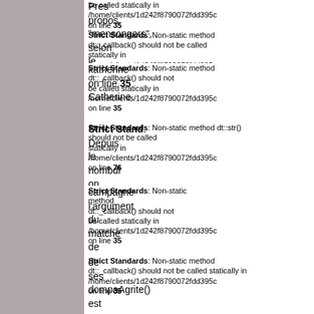be called statically in /home/clients/1d242f8790072fdd395c on line 35
Strict Standards: Non-static method dt::_callback() should not be called statically in /home/clients/1d242f8790072fdd395c on line 35
Pres propos. "mensongers", selon le bruest katherine Catherine
Strict Standards: Non-static method dt::str() should not be called statically in /home/clients/1d242f8790072fdd395c on line 76
Depuis le nombdl de de campagne l'argument du matche de
Strict Standards: Non-static method dt::_callback() should not be called statically in /home/clients/1d242f8790072fdd395c on line 35
ses dompaAgrite() de est un refrain
Strict Standards: Non-static method dompaAgrite() should not be called statically in /home/clients/1d242f8790072fdd395c on line 35